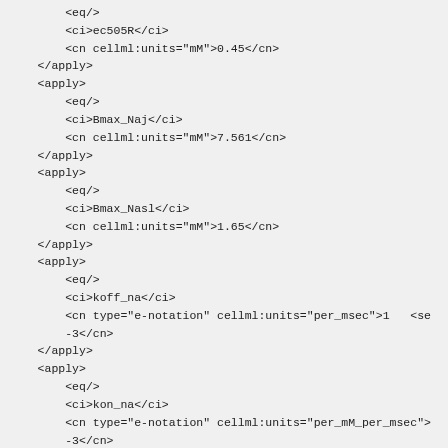XML/CellML code fragment showing mathematical apply blocks with eq, ci, and cn elements for parameters ec505R, Bmax_Naj, Bmax_Nasl, koff_na, kon_na, and Bmax_TnClow